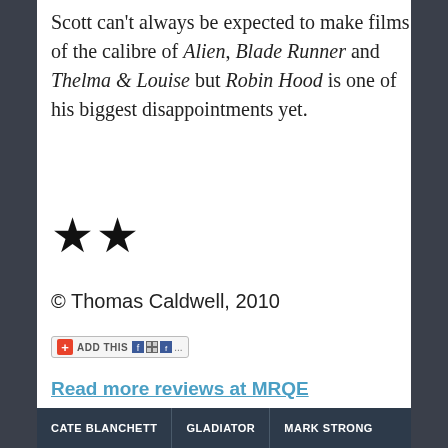Scott can't always be expected to make films of the calibre of Alien, Blade Runner and Thelma & Louise but Robin Hood is one of his biggest disappointments yet.
[Figure (other): Two black star rating symbols (★★) indicating 2 out of 5 stars]
© Thomas Caldwell, 2010
[Figure (other): AddThis social sharing widget button with plus icon and social media icons]
Read more reviews at MRQE
[Figure (other): Social share buttons: Facebook, Twitter, More]
CATE BLANCHETT   GLADIATOR   MARK STRONG